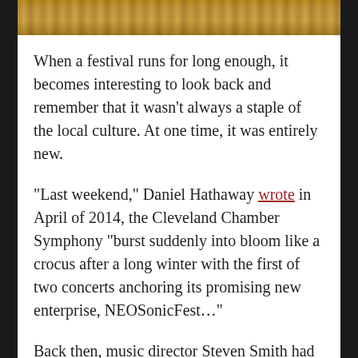[Figure (photo): Partial view of what appears to be a wooden surface or furniture, tan/brown tones, cropped at top of page]
When a festival runs for long enough, it becomes interesting to look back and remember that it wasn't always a staple of the local culture. At one time, it was entirely new.
“Last weekend,” Daniel Hathaway wrote in April of 2014, the Cleveland Chamber Symphony “burst suddenly into bloom like a crocus after a long winter with the first of two concerts anchoring its promising new enterprise, NEOSonicFest…”
Back then, music director Steven Smith had been thinking for years about how to keep the name and